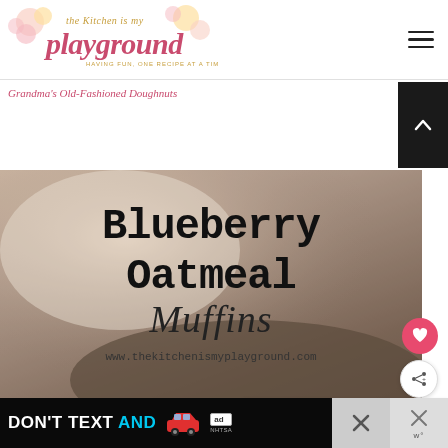[Figure (logo): The Kitchen is my Playground blog logo with decorative flowers and tagline 'Having fun, one recipe at a time']
Grandma's Old-Fashioned Doughnuts
[Figure (photo): Blueberry Oatmeal Muffins food blog photograph with large text overlay reading 'Blueberry Oatmeal Muffins' and website URL www.thekitchenismyplayground.com]
WHAT'S NEXT → Oatmeal Muffins
[Figure (screenshot): DON'T TEXT AND [drive] advertisement banner from NHTSA]